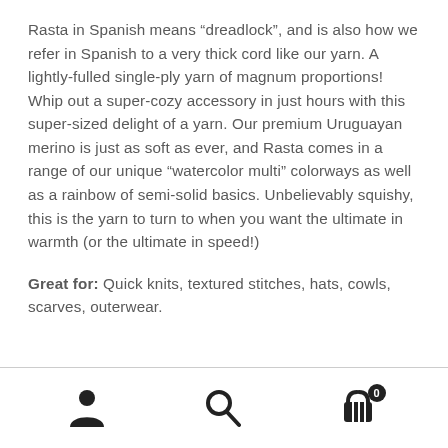Rasta in Spanish means “dreadlock”, and is also how we refer in Spanish to a very thick cord like our yarn. A lightly-fulled single-ply yarn of magnum proportions! Whip out a super-cozy accessory in just hours with this super-sized delight of a yarn. Our premium Uruguayan merino is just as soft as ever, and Rasta comes in a range of our unique “watercolor multi” colorways as well as a rainbow of semi-solid basics. Unbelievably squishy, this is the yarn to turn to when you want the ultimate in warmth (or the ultimate in speed!)
Great for: Quick knits, textured stitches, hats, cowls, scarves, outerwear.
[icons: user, search, cart with badge 0]